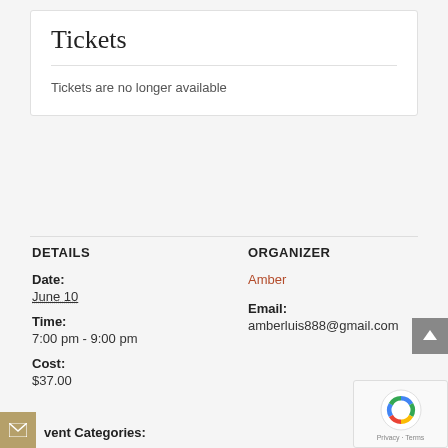Tickets
Tickets are no longer available
DETAILS
Date:
June 10
Time:
7:00 pm - 9:00 pm
Cost:
$37.00
Event Categories:
ORGANIZER
Amber
Email:
amberluis888@gmail.com